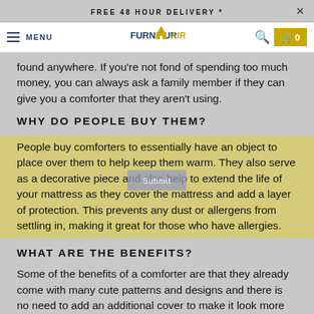FREE 48 HOUR DELIVERY *
[Figure (screenshot): FurniturAir website navigation bar with hamburger menu, MENU text, FurniturAir logo, search icon, and cart icon with 0 items on golden background]
found anywhere. If you're not fond of spending too much money, you can always ask a family member if they can give you a comforter that they aren't using.
WHY DO PEOPLE BUY THEM?
People buy comforters to essentially have an object to place over them to help keep them warm. They also serve as a decorative piece and also help to extend the life of your mattress as they cover the mattress and add a layer of protection. This prevents any dust or allergens from settling in, making it great for those who have allergies.
WHAT ARE THE BENEFITS?
Some of the benefits of a comforter are that they already come with many cute patterns and designs and there is no need to add an additional cover to make it look more appealing and to protect it. Comforters can be found in sets, so it is easier to dress your